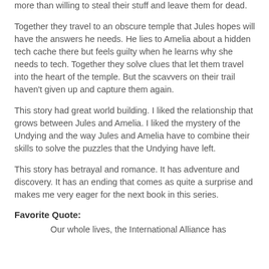tech. They need to elude a group of scavvers who would be more than willing to steal their stuff and leave them for dead.
Together they travel to an obscure temple that Jules hopes will have the answers he needs. He lies to Amelia about a hidden tech cache there but feels guilty when he learns why she needs to tech. Together they solve clues that let them travel into the heart of the temple. But the scavvers on their trail haven't given up and capture them again.
This story had great world building. I liked the relationship that grows between Jules and Amelia. I liked the mystery of the Undying and the way Jules and Amelia have to combine their skills to solve the puzzles that the Undying have left.
This story has betrayal and romance. It has adventure and discovery. It has an ending that comes as quite a surprise and makes me very eager for the next book in this series.
Favorite Quote:
Our whole lives, the International Alliance has